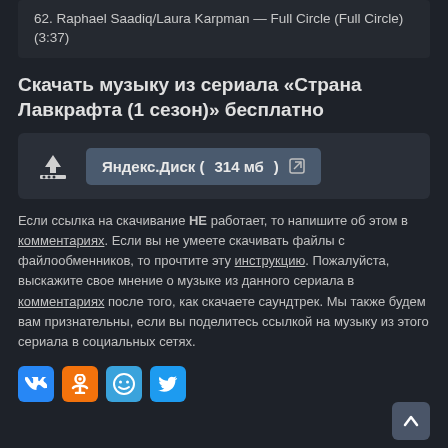62. Raphael Saadiq/Laura Karpman — Full Circle (Full Circle) (3:37)
Скачать музыку из сериала «Страна Лавкрафта (1 сезон)» бесплатно
[Figure (other): Download button with Yandex.Disk link showing 314 MB]
Если ссылка на скачивание НЕ работает, то напишите об этом в комментариях. Если вы не умеете скачивать файлы с файлообменников, то прочтите эту инструкцию. Пожалуйста, выскажите свое мнение о музыке из данного сериала в комментариях после того, как скачаете саундтрек. Мы также будем вам признательны, если вы поделитесь ссылкой на музыку из этого сериала в социальных сетях.
[Figure (other): Social share buttons: VK, Odnoklassniki, MoiMir, Twitter]